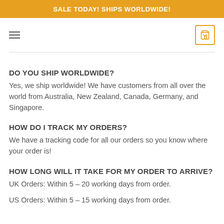SALE TODAY! SHIPS WORLDWIDE!
DO YOU SHIP WORLDWIDE?
Yes, we ship worldwide! We have customers from all over the world from Australia, New Zealand, Canada, Germany, and Singapore.
HOW DO I TRACK MY ORDERS?
We have a tracking code for all our orders so you know where your order is!
HOW LONG WILL IT TAKE FOR MY ORDER TO ARRIVE?
UK Orders: Within 5 – 20 working days from order.
US Orders: Within 5 – 15 working days from order.